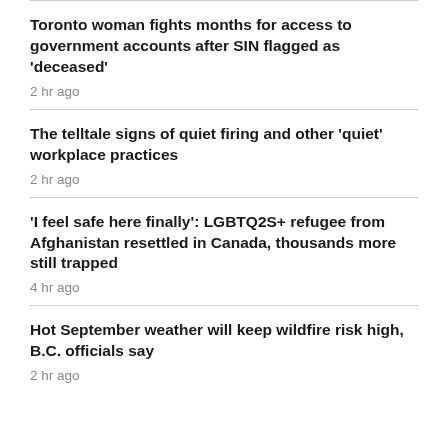Toronto woman fights months for access to government accounts after SIN flagged as 'deceased'
2 hr ago
The telltale signs of quiet firing and other 'quiet' workplace practices
2 hr ago
'I feel safe here finally': LGBTQ2S+ refugee from Afghanistan resettled in Canada, thousands more still trapped
4 hr ago
Hot September weather will keep wildfire risk high, B.C. officials say
2 hr ago